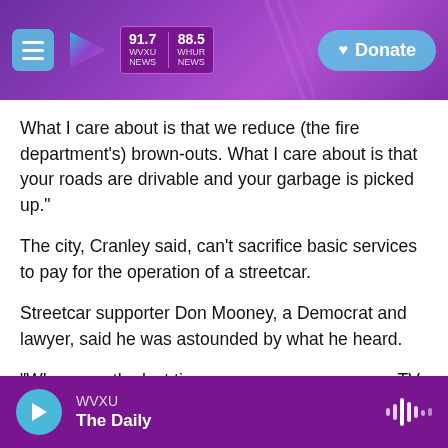WVXU 91.7 NEWS | WHUB 88.5 NEWS | Donate
What I care about is that we reduce (the fire department’s) brown-outs. What I care about is that your roads are drivable and your garbage is picked up.”
The city, Cranley said, can’t sacrifice basic services to pay for the operation of a streetcar.
Streetcar supporter Don Mooney, a Democrat and lawyer, said he was astounded by what he heard.
“When was the last time you saw a mayor go on TV and say that our murder rate is going up and that our finances…
WVXU | The Daily